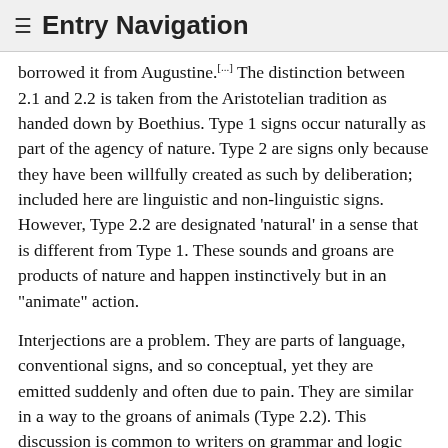≡ Entry Navigation
borrowed it from Augustine.[...] The distinction between 2.1 and 2.2 is taken from the Aristotelian tradition as handed down by Boethius. Type 1 signs occur naturally as part of the agency of nature. Type 2 are signs only because they have been willfully created as such by deliberation; included here are linguistic and non-linguistic signs. However, Type 2.2 are designated 'natural' in a sense that is different from Type 1. These sounds and groans are products of nature and happen instinctively but in an "animate" action.
Interjections are a problem. They are parts of language, conventional signs, and so conceptual, yet they are emitted suddenly and often due to pain. They are similar in a way to the groans of animals (Type 2.2). This discussion is common to writers on grammar and logic from the 1240s, especially in the works of Richard Kilwardby and similar authors.
The signs in 1.1 on natural consequence indicate that Bacon has integrated not only Aristotle and Augustine but